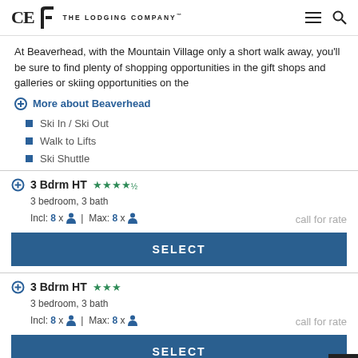The Lodging Company
At Beaverhead, with the Mountain Village only a short walk away, you'll be sure to find plenty of shopping opportunities in the gift shops and galleries or skiing opportunities on the
More about Beaverhead
Ski In / Ski Out
Walk to Lifts
Ski Shuttle
3 Bdrm HT ★★★★½ | 3 bedroom, 3 bath | Incl: 8 x person | Max: 8 x person | call for rate
SELECT
3 Bdrm HT ★★★ | 3 bedroom, 3 bath | Incl: 8 x person | Max: 8 x person | call for rate
SELECT